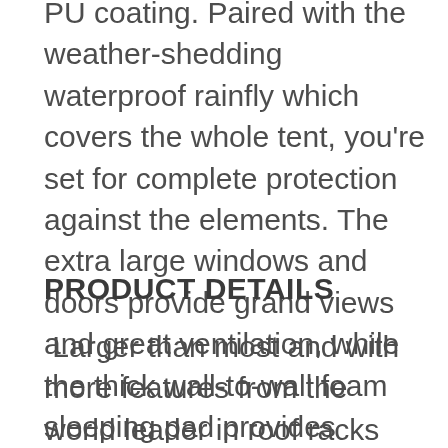PU coating. Paired with the weather-shedding waterproof rainfly which covers the whole tent, you're set for complete protection against the elements. The extra large windows and doors provide grand views and great ventilation, while the thick wall-to-wall foam sleeping pad provides cushy, all-night comfort.
PRODUCT DETAILS
Larger than most and with more features from the world leader in roof racks and accessories.